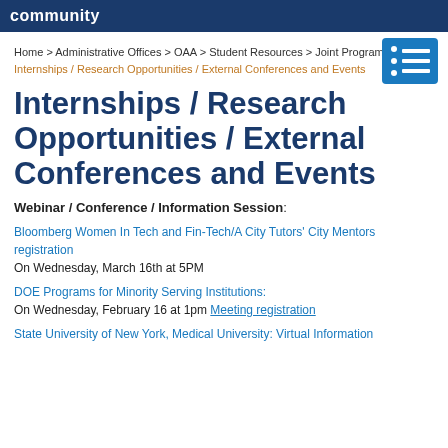community
Home > Administrative Offices > OAA > Student Resources > Joint Programs > Internships / Research Opportunities / External Conferences and Events
Internships / Research Opportunities / External Conferences and Events
Webinar / Conference / Information Session:
Bloomberg Women In Tech and Fin-Tech/A City Tutors' City Mentors registration
On Wednesday, March 16th at 5PM
DOE Programs for Minority Serving Institutions:
On Wednesday, February 16 at 1pm Meeting registration
State University of New York, Medical University: Virtual Information...